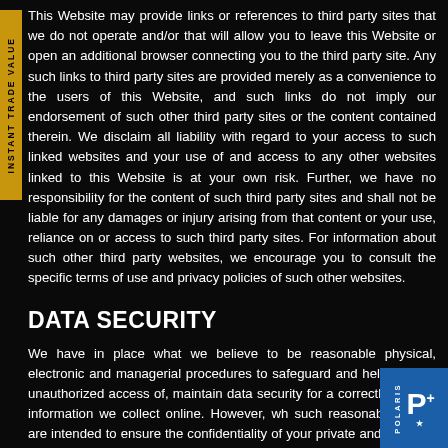This Website may provide links or references to third party sites that we do not operate and/or that will allow you to leave this Website or open an additional browser connecting you to the third party site. Any such links to third party sites are provided merely as a convenience to the users of this Website, and such links do not imply our endorsement of such other third party sites or the content contained therein. We disclaim all liability with regard to your access to such linked websites and your use of and access to any other websites linked to this Website is at your own risk. Further, we have no responsibility for the content of such third party sites and shall not be liable for any damages or injury arising from that content or your use, reliance on or access to such third party sites. For information about such other third party websites, we encourage you to consult the specific terms of use and privacy policies of such other websites.
DATA SECURITY
We have in place what we believe to be reasonable physical, electronic and managerial procedures to safeguard and help prevent unauthorized access of, maintain data security for a correctly use the information we collect online. However, wh such reasonable efforts are intended to ensure the confidentiality of your private and personal information